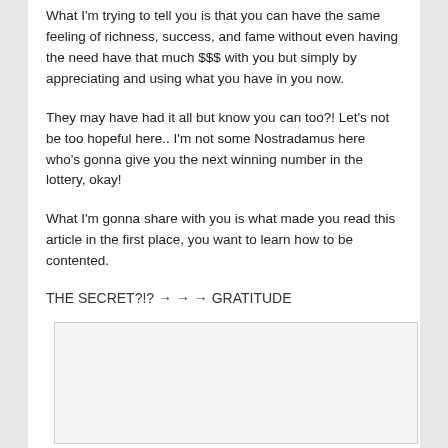What I'm trying to tell you is that you can have the same feeling of richness, success, and fame without even having the need have that much $$$ with you but simply by appreciating and using what you have in you now.
They may have had it all but know you can too?! Let's not be too hopeful here.. I'm not some Nostradamus here who's gonna give you the next winning number in the lottery, okay!
What I'm gonna share with you is what made you read this article in the first place, you want to learn how to be contented.
THE SECRET?!? → → → GRATITUDE
[Figure (other): A light gray placeholder image box with a border]